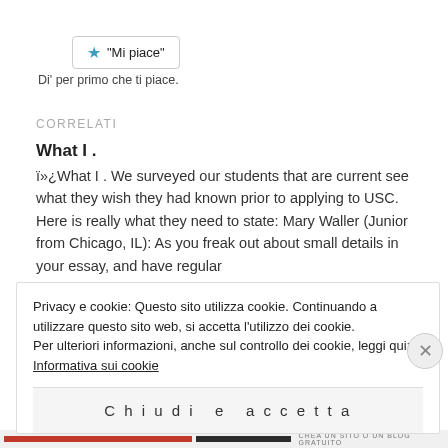[Figure (other): A 'Mi piace' (Like) button with a blue star icon and rounded border]
Di' per primo che ti piace.
CORRELATI
What I .
ï»¿What I . We surveyed our students that are current see what they wish they had known prior to applying to USC. Here is really what they need to state: Mary Waller (Junior from Chicago, IL): As you freak out about small details in your essay, and have regular
3 dicembre 2019
In "Main"
Privacy e cookie: Questo sito utilizza cookie. Continuando a utilizzare questo sito web, si accetta l'utilizzo dei cookie.
Per ulteriori informazioni, anche sul controllo dei cookie, leggi qui:
Informativa sui cookie
Chiudi e accetta